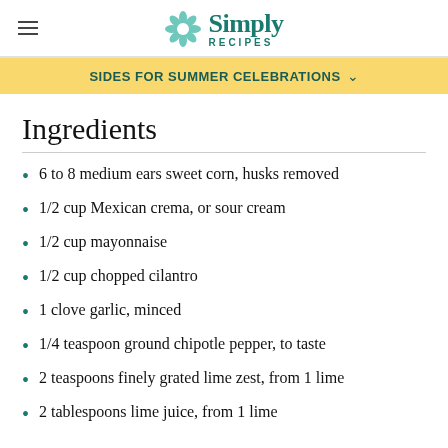Simply Recipes
SIDES FOR SUMMER CELEBRATIONS
Ingredients
6 to 8 medium ears sweet corn, husks removed
1/2 cup Mexican crema, or sour cream
1/2 cup mayonnaise
1/2 cup chopped cilantro
1 clove garlic, minced
1/4 teaspoon ground chipotle pepper, to taste
2 teaspoons finely grated lime zest, from 1 lime
2 tablespoons lime juice, from 1 lime